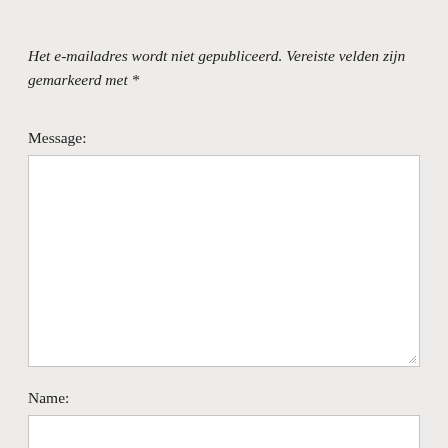Het e-mailadres wordt niet gepubliceerd. Vereiste velden zijn gemarkeerd met *
Message:
[Figure (other): Empty textarea input field with resize handle]
Name:
[Figure (other): Empty text input field for name]
Email Address:
[Figure (other): Empty text input field for email address (partially visible)]